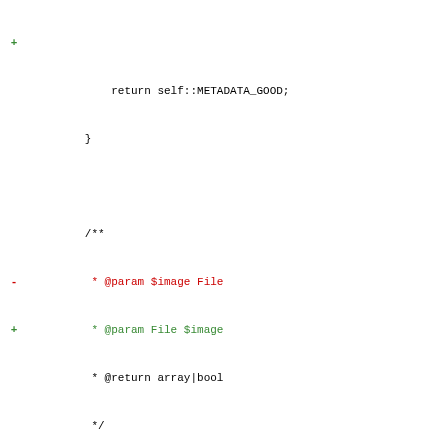[Figure (screenshot): Code diff snippet showing PHP function formatMetadata and getCommonMetaArray with added (green) and removed (red) lines in a diff viewer. Lines show changes to parameter ordering and implementation of the function.]